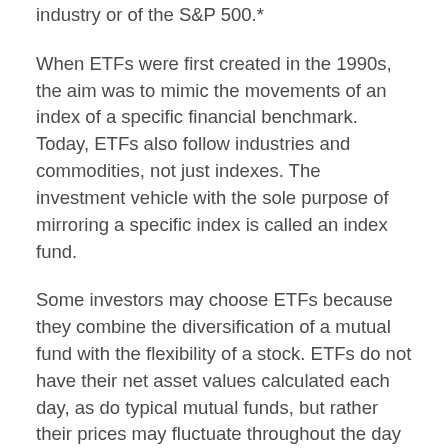industry or of the S&P 500.*
When ETFs were first created in the 1990s, the aim was to mimic the movements of an index of a specific financial benchmark. Today, ETFs also follow industries and commodities, not just indexes. The investment vehicle with the sole purpose of mirroring a specific index is called an index fund.
Some investors may choose ETFs because they combine the diversification of a mutual fund with the flexibility of a stock. ETFs do not have their net asset values calculated each day, as do typical mutual funds, but rather their prices may fluctuate throughout the day based on the rate of demand on the open market.
Although the value of an ETF comes from the worth of the underlying assets comprising it, shares may trade at a “premium” or a “discount.” ETF shares are sold on stock exchanges; investors can buy or sell them at any time during the day. The underlying